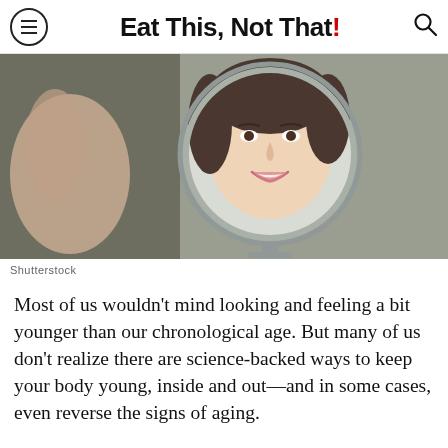Eat This, Not That!
[Figure (photo): Young woman smiling at herself in a round circular mirror, photographed from behind the mirror. Shutterstock photo.]
Shutterstock
Most of us wouldn't mind looking and feeling a bit younger than our chronological age. But many of us don't realize there are science-backed ways to keep your body young, inside and out—and in some cases, even reverse the signs of aging.